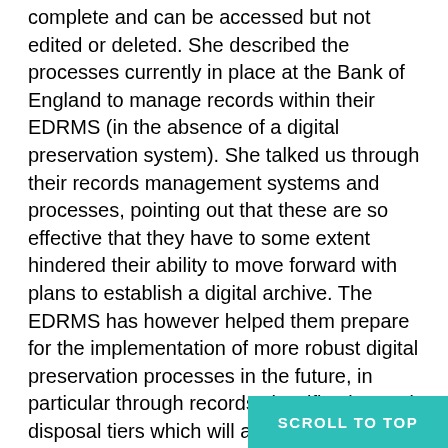complete and can be accessed but not edited or deleted. She described the processes currently in place at the Bank of England to manage records within their EDRMS (in the absence of a digital preservation system). She talked us through their records management systems and processes, pointing out that these are so effective that they have to some extent hindered their ability to move forward with plans to establish a digital archive. The EDRMS has however helped them prepare for the implementation of more robust digital preservation processes in the future, in particular through records classification and disposal tiers which will allow preservation priorities to be highlighted more efficiently.
The last two case studies of the day came from Jaana Pinnick from the British Geological Survey and its National Geoscience Data Centre and Evans from the Archaeology Data Service. Jaana gave an